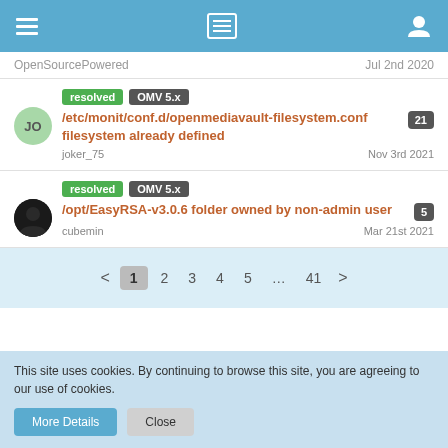Navigation bar with hamburger menu, list icon, and user icon
OpenSourcePowered  Jul 2nd 2020
resolved  OMV 5.x  /etc/monit/conf.d/openmediavault-filesystem.conf filesystem already defined  21  joker_75  Nov 3rd 2021
resolved  OMV 5.x  /opt/EasyRSA-v3.0.6 folder owned by non-admin user  5  cubemin  Mar 21st 2021
< 1 2 3 4 5 ... 41 >
This site uses cookies. By continuing to browse this site, you are agreeing to our use of cookies.